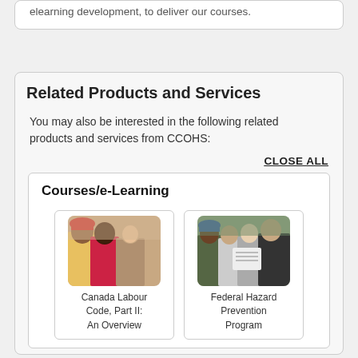elearning development, to deliver our courses.
Related Products and Services
You may also be interested in the following related products and services from CCOHS:
CLOSE ALL
Courses/e-Learning
[Figure (photo): Group of workers including a woman in red jacket and a man in hard hat and yellow vest]
Canada Labour Code, Part II: An Overview
[Figure (photo): Group of professionals including a man in a hard hat and women looking at documents]
Federal Hazard Prevention Program